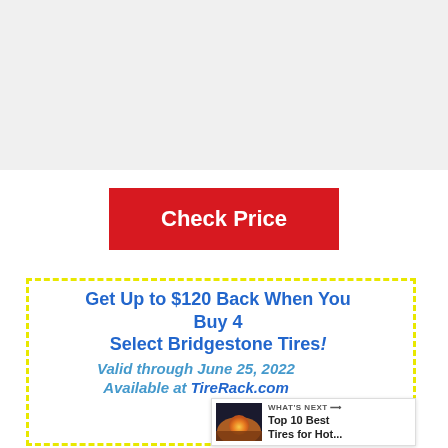[Figure (other): Large white/light gray rectangle area occupying the top portion of the page, representing an image or content area placeholder]
Check Price
Get Up to $120 Back When You Buy 4 Select Bridgestone Tires! Valid through June 25, 2022 Available at TireRack.com
WHAT'S NEXT → Top 10 Best Tires for Hot...